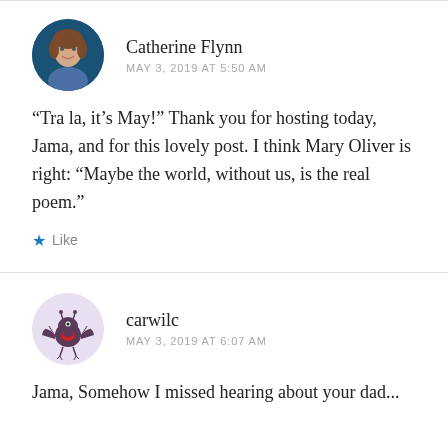Catherine Flynn
MAY 3, 2019 AT 5:50 AM
“Tra la, it’s May!” Thank you for hosting today, Jama, and for this lovely post. I think Mary Oliver is right: “Maybe the world, without us, is the real poem.”
★ Like
carwilc
MAY 3, 2019 AT 6:07 AM
Jama, Somehow I missed hearing about your dad...